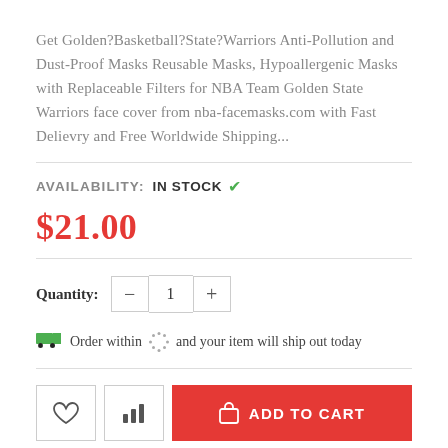Get Golden?Basketball?State?Warriors Anti-Pollution and Dust-Proof Masks Reusable Masks, Hypoallergenic Masks with Replaceable Filters for NBA Team Golden State Warriors face cover from nba-facemasks.com with Fast Delievry and Free Worldwide Shipping...
AVAILABILITY: IN STOCK ✓
$21.00
Quantity: 1
Order within and your item will ship out today
ADD TO CART